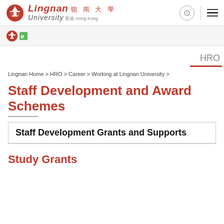[Figure (logo): Lingnan University logo with red circular emblem and text 'Lingnan 嶺南大學 University 香港 Hong Kong']
[Figure (logo): Small secondary logos in grey bar]
HRO
Lingnan Home > HRO > Career > Working at Lingnan University >
Staff Development and Award Schemes
Staff Development Grants and Supports
Study Grants